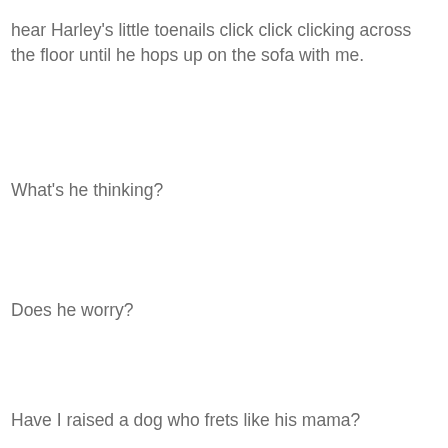hear Harley's little toenails click click clicking across the floor until he hops up on the sofa with me.
What's he thinking?
Does he worry?
Have I raised a dog who frets like his mama?